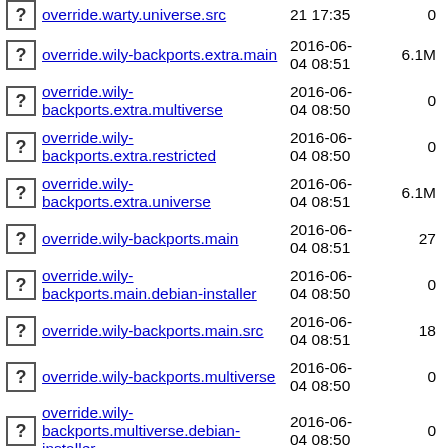override.warty.universe.src  21 17:35  0
override.wily-backports.extra.main  2016-06-04 08:51  6.1M
override.wily-backports.extra.multiverse  2016-06-04 08:50  0
override.wily-backports.extra.restricted  2016-06-04 08:50  0
override.wily-backports.extra.universe  2016-06-04 08:51  6.1M
override.wily-backports.main  2016-06-04 08:51  27
override.wily-backports.main.debian-installer  2016-06-04 08:50  0
override.wily-backports.main.src  2016-06-04 08:51  18
override.wily-backports.multiverse  2016-06-04 08:50  0
override.wily-backports.multiverse.debian-installer  2016-06-04 08:50  0
override.wily-backports.multiverse.src  2016-06-04 08:50  0
override.wily-backports.restricted  2016-06-04 08:50  0